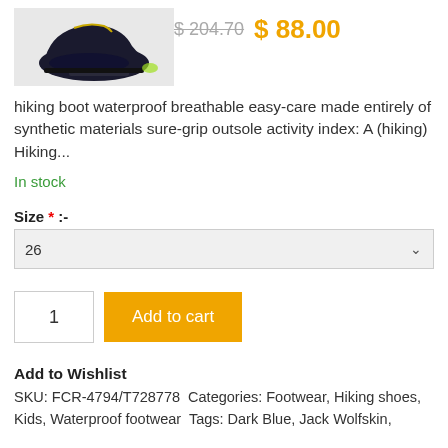[Figure (photo): Product image of a dark blue hiking boot/shoe, partially visible on a light gray background]
$ 204.70  $ 88.00
hiking boot waterproof breathable easy-care made entirely of synthetic materials sure-grip outsole activity index: A (hiking) Hiking...
In stock
Size * :-
26
1
Add to cart
Add to Wishlist
SKU: FCR-4794/T728778 Categories: Footwear, Hiking shoes, Kids, Waterproof footwear Tags: Dark Blue, Jack Wolfskin,